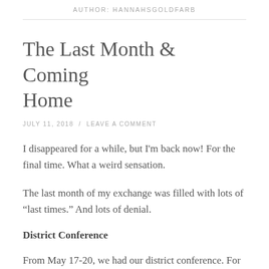AUTHOR: HANNAHSGOLDFARB
The Last Month & Coming Home
JULY 11, 2018 / LEAVE A COMMENT
I disappeared for a while, but I'm back now! For the final time. What a weird sensation.
The last month of my exchange was filled with lots of “last times.” And lots of denial.
District Conference
From May 17-20, we had our district conference. For